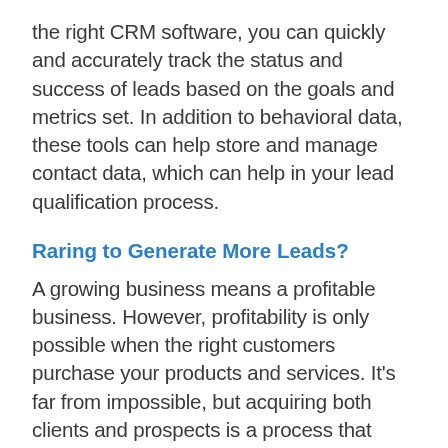the right CRM software, you can quickly and accurately track the status and success of leads based on the goals and metrics set. In addition to behavioral data, these tools can help store and manage contact data, which can help in your lead qualification process.
Raring to Generate More Leads?
A growing business means a profitable business. However, profitability is only possible when the right customers purchase your products and services. It’s far from impossible, but acquiring both clients and prospects is a process that needs to be taken seriously.
Nailing your lead generation strategies is the foundation of all your other moves along the